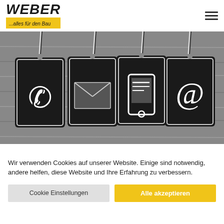WEBER ...alles für den Bau
[Figure (photo): Black and white photo of four hanging gift tags on a wooden background, each displaying a white icon: telephone receiver, envelope/mail, smartphone, and @ symbol — representing contact methods.]
Wir verwenden Cookies auf unserer Website. Einige sind notwendig, andere helfen, diese Website und Ihre Erfahrung zu verbessern.
Cookie Einstellungen | Alle akzeptieren